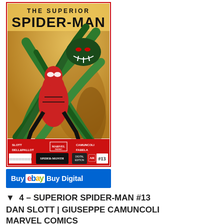[Figure (illustration): Comic book cover for The Superior Spider-Man #13 by Marvel Comics. Shows Spider-Man in red and black suit grappling with a large green tentacled creature (Doctor Octopus arms), with golden/brown dramatic background. Bottom strip has barcode, Spider-Month logo, Digital Edition badge, AR logo, and issue number 13.]
Buy ebay Buy Digital
▼  4 – SUPERIOR SPIDER-MAN #13
DAN SLOTT | GIUSEPPE CAMUNCOLI
MARVEL COMICS